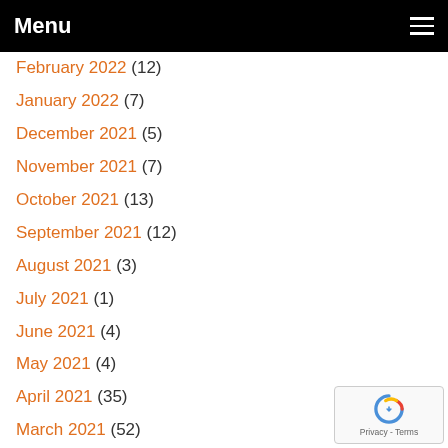Menu
February 2022 (12)
January 2022 (7)
December 2021 (5)
November 2021 (7)
October 2021 (13)
September 2021 (12)
August 2021 (3)
July 2021 (1)
June 2021 (4)
May 2021 (4)
April 2021 (35)
March 2021 (52)
February 2021 (55)
January 2021 (57)
December 2020 (57)